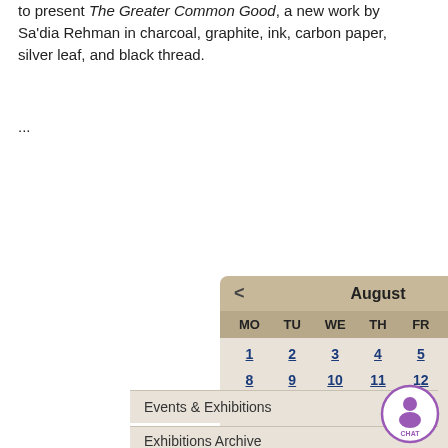to present The Greater Common Good, a new work by Sa'dia Rehman in charcoal, graphite, ink, carbon paper, silver leaf, and black thread.
...
[Figure (other): August calendar widget showing dates 1-31, with navigation arrows and day headers MO TU WE TH FR SA SU]
Events & Exhibitions
Exhibitions Archive
[Figure (other): Chat button - purple circle with person icon and CHAT label]